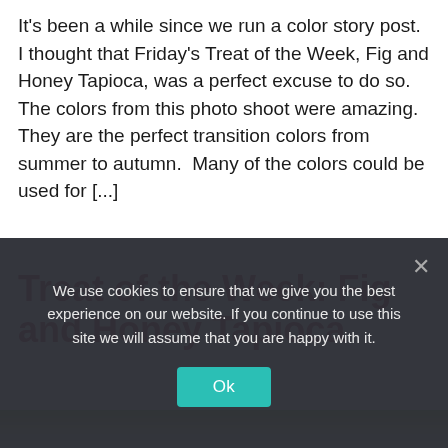It's been a while since we run a color story post. I thought that Friday's Treat of the Week, Fig and Honey Tapioca, was a perfect excuse to do so. The colors from this photo shoot were amazing. They are the perfect transition colors from summer to autumn.  Many of the colors could be used for [...]
Treat of the Week: Fig and Honey Tapioca
[Figure (photo): Partial photo strip showing a food/drink item, likely tapioca dessert, with green and cream tones.]
We use cookies to ensure that we give you the best experience on our website. If you continue to use this site we will assume that you are happy with it.